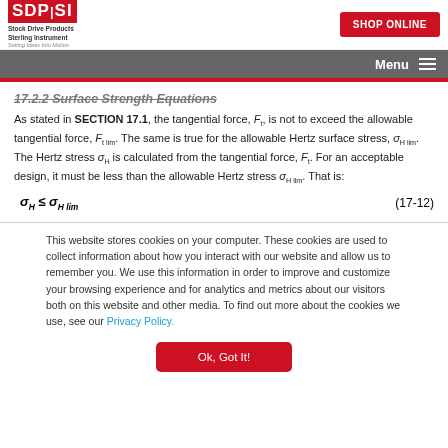SDP/SI – Stock Drive Products Sterling Instrument – Setting Ideas Into Motion | SHOP ONLINE | Menu
17.2.2 Surface Strength Equations
As stated in SECTION 17.1, the tangential force, Ft, is not to exceed the allowable tangential force, Ft lim. The same is true for the allowable Hertz surface stress, σH lim. The Hertz stress σH is calculated from the tangential force, Ft. For an acceptable design, it must be less than the allowable Hertz stress σH lim. That is:
This website stores cookies on your computer. These cookies are used to collect information about how you interact with our website and allow us to remember you. We use this information in order to improve and customize your browsing experience and for analytics and metrics about our visitors both on this website and other media. To find out more about the cookies we use, see our Privacy Policy.